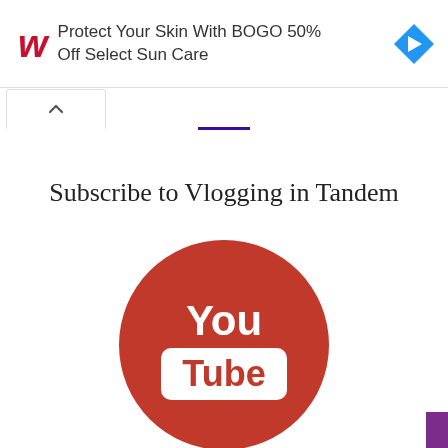[Figure (screenshot): Advertisement banner for Walgreens: red cursive W logo on left, text 'Protect Your Skin With BOGO 50% Off Select Sun Care', blue diamond navigation arrow icon on right]
[Figure (screenshot): Browser UI: tab bar with upward chevron tab on left, purple underline bar in center]
Subscribe to Vlogging in Tandem
[Figure (logo): YouTube logo: red circle with white 'You' text on top and white rounded-rectangle 'Tube' label below]
[Figure (other): Purple rectangle in bottom-right corner (partial UI element)]